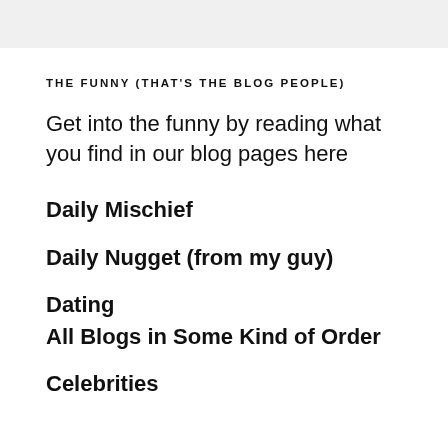THE FUNNY (THAT'S THE BLOG PEOPLE)
Get into the funny by reading what you find in our blog pages here
Daily Mischief
Daily Nugget (from my guy)
Dating
All Blogs in Some Kind of Order
Celebrities